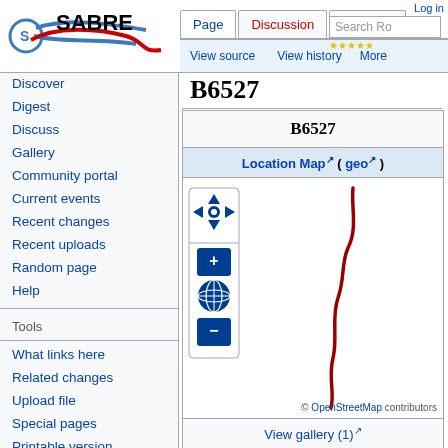SABRE — Page | Discussion | Discover | View source | View history | More | Log in | Search Ro
B6527
B6527
Location Map (geo)
[Figure (map): Interactive map showing road B6527 as a red winding line on a white background, with pan/zoom controls on the left]
© OpenStreetMap contributors
View gallery (1)
Discover
Digest
Discuss
Gallery
Community portal
Current events
Recent changes
Recent uploads
Random page
Help
Tools
What links here
Related changes
Upload file
Special pages
Printable version